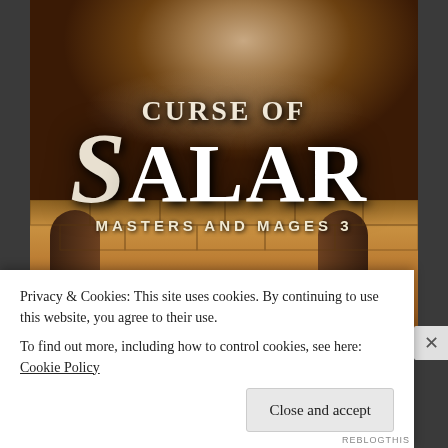[Figure (illustration): Book cover for 'Curse of Salar: Masters and Mages 3'. Shows a young man's face and torso from below the chin, wearing a cloak, with smoky atmospheric background. Below is a dungeon/castle setting with stone arches and warm golden-lit stone walls. White stylized text overlays the cover.]
Privacy & Cookies: This site uses cookies. By continuing to use this website, you agree to their use.
To find out more, including how to control cookies, see here: Cookie Policy
Close and accept